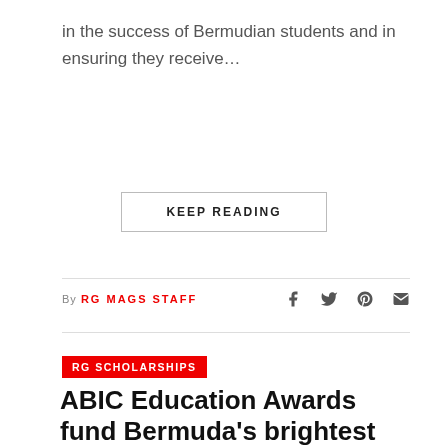in the success of Bermudian students and in ensuring they receive…
KEEP READING
By RG MAGS STAFF
RG SCHOLARSHIPS
ABIC Education Awards fund Bermuda's brightest business minds
BY RG MAGS STAFF – MARCH 25, 2022